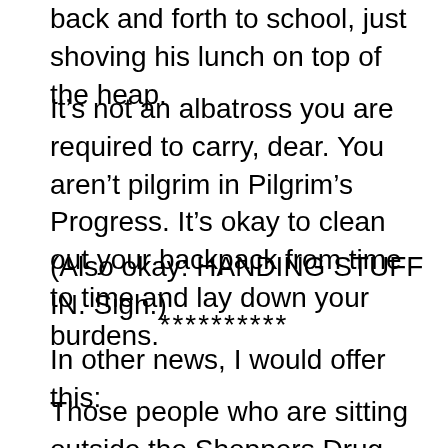back and forth to school, just shoving his lunch on top of the heap.
It’s not an albatross you are required to carry, dear. You aren’t pilgrim in Pilgrim’s Progress. It’s okay to clean out your backpack from time to time and lay down your burdens.
(Also okay: HANDING STUFF IN. Sigh.)
**********
In other news, I would offer this:
Those people who are sitting outside the Shoppers Drug Mart at 7:50 a.m., waiting for it